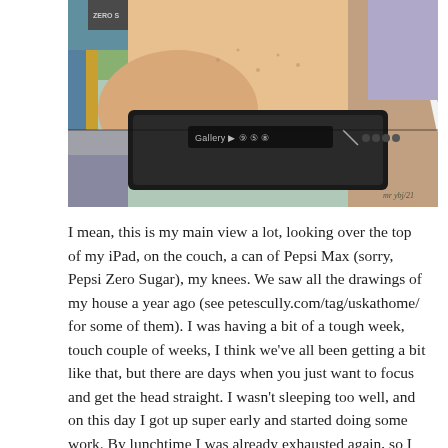[Figure (illustration): A comic-style illustration of a person's lap view: hands holding an iPad with a drawing app open (Gallery toolbar visible), a Pepsi can nearby, and an Apple Pencil. Colorful, cartoonish art style with bold outlines.]
I mean, this is my main view a lot, looking over the top of my iPad, on the couch, a can of Pepsi Max (sorry, Pepsi Zero Sugar), my knees. We saw all the drawings of my house a year ago (see petescully.com/tag/uskathome/ for some of them). I was having a bit of a tough week, touch couple of weeks, I think we've all been getting a bit like that, but there are days when you just want to focus and get the head straight. I wasn't sleeping too well, and on this day I got up super early and started doing some work. By lunchtime I was already exhausted again, so I sat on the couch while Paris St. Germain played Manchester City in the Champions League. That was the first leg, when PSG had a